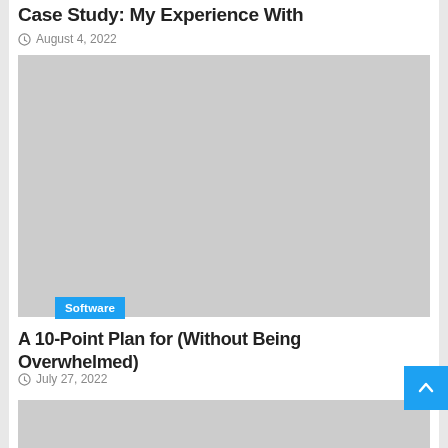Case Study: My Experience With
August 4, 2022
[Figure (photo): Large gray placeholder image with a 'Software' category tag in the lower left corner]
A 10-Point Plan for (Without Being Overwhelmed)
July 27, 2022
[Figure (photo): Partial gray placeholder image at the bottom of the page]